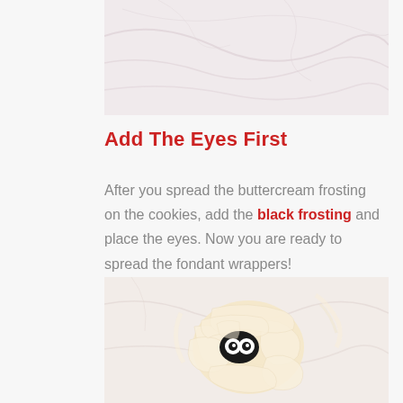[Figure (photo): Top portion of a photo showing a light marble or fabric surface, pale pink/white tones]
Add The Eyes First
After you spread the buttercream frosting on the cookies, add the black frosting and place the eyes. Now you are ready to spread the fondant wrappers!
[Figure (photo): A mummy-themed Halloween cookie on a white marble surface, decorated with fondant strips and candy eyes with a black frosting base, viewed from above]